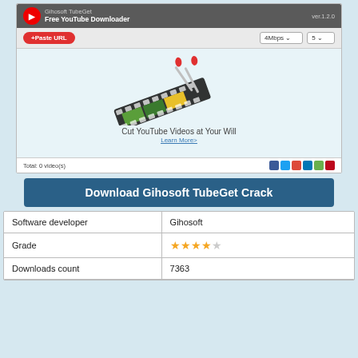[Figure (screenshot): Gihosoft TubeGet Free YouTube Downloader application window showing film strip illustration with scissors, tagline 'Cut YouTube Videos at Your Will', and a Learn More link. Footer shows Total: 0 video(s) and social media icons.]
Download Gihosoft TubeGet Crack
| Software developer | Gihosoft |
| Grade | ★★★★☆ |
| Downloads count | 7363 |